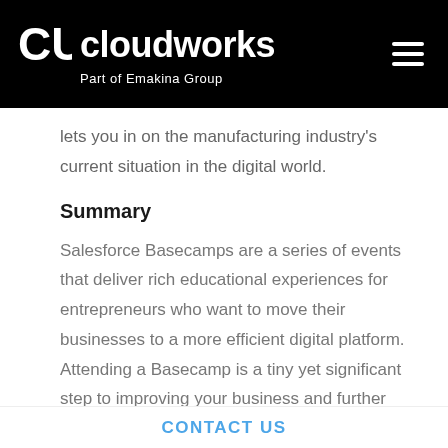cloudworks Part of Emakina Group
lets you in on the manufacturing industry's current situation in the digital world.
Summary
Salesforce Basecamps are a series of events that deliver rich educational experiences for entrepreneurs who want to move their businesses to a more efficient digital platform. Attending a Basecamp is a tiny yet significant step to improving your business and further enhancing customer satisfaction. Take advantage of
CONTACT US